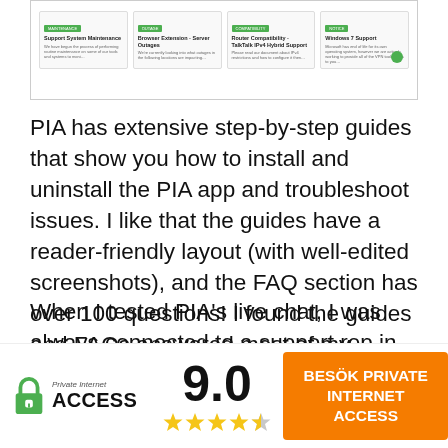[Figure (screenshot): Screenshot showing four PIA support article cards with green badges, titles like 'Support System Maintenance', 'Browser Extension - Server Outages', 'Router Compatibility - TalkTalk IPv6 Hybrid Support', and 'Windows 7 Support']
PIA has extensive step-by-step guides that show you how to install and uninstall the PIA app and troubleshoot issues. I like that the guides have a reader-friendly layout (with well-edited screenshots), and the FAQ section has over 100 questions! I found the guides and FAQs answered most of my questions.
When I tested PIA's live chat, I was always connected to a support rep in under 10 seconds, and the reps were responsive, friendly, and
[Figure (logo): Private Internet Access logo with lock icon]
9.0
[Figure (infographic): 4.5 star rating shown with yellow stars]
BESÖK PRIVATE INTERNET ACCESS